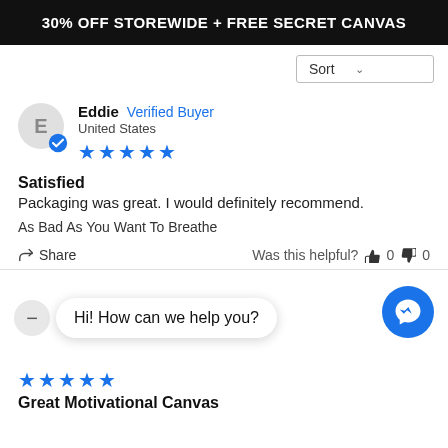30% OFF STOREWIDE + FREE SECRET CANVAS
Sort
Eddie  Verified Buyer
United States
★★★★★
Satisfied
Packaging was great. I would definitely recommend.
As Bad As You Want To Breathe
Share    Was this helpful?  👍 0  👎 0
Hi! How can we help you?
★★★★★
Great Motivational Canvas